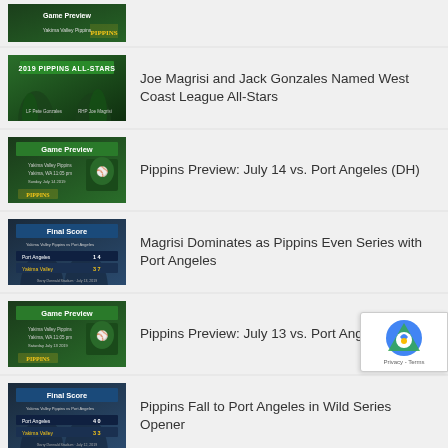[Figure (photo): Partial thumbnail of Pippins baseball article at top (cropped)]
[Figure (photo): 2019 Pippins All-Stars thumbnail image showing two baseball players]
Joe Magrisi and Jack Gonzales Named West Coast League All-Stars
[Figure (photo): Game Preview thumbnail - July 14 vs Port Angeles (DH)]
Pippins Preview: July 14 vs. Port Angeles (DH)
[Figure (photo): Final Score thumbnail - Magrisi Dominates Port Angeles]
Magrisi Dominates as Pippins Even Series with Port Angeles
[Figure (photo): Game Preview thumbnail - July 13 vs Port Angeles]
Pippins Preview: July 13 vs. Port Angeles
[Figure (photo): Final Score thumbnail - Pippins Fall to Port Angeles]
Pippins Fall to Port Angeles in Wild Series Opener
[Figure (photo): Game Preview thumbnail - July 12 vs Port Angeles (partial)]
Pippins Preview: July 12 vs. Port Ang…